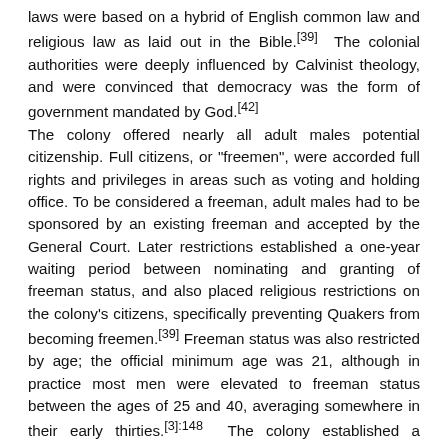Formal laws were not codified until 1636. The colony's laws were based on a hybrid of English common law and religious law as laid out in the Bible.[39] The colonial authorities were deeply influenced by Calvinist theology, and were convinced that democracy was the form of government mandated by God.[42] The colony offered nearly all adult males potential citizenship. Full citizens, or "freemen", were accorded full rights and privileges in areas such as voting and holding office. To be considered a freeman, adult males had to be sponsored by an existing freeman and accepted by the General Court. Later restrictions established a one-year waiting period between nominating and granting of freeman status, and also placed religious restrictions on the colony's citizens, specifically preventing Quakers from becoming freemen.[39] Freeman status was also restricted by age; the official minimum age was 21, although in practice most men were elevated to freeman status between the ages of 25 and 40, averaging somewhere in their early thirties.[3]:148 The colony established a disabled veterans' fund in 1636 to support veterans who returned from service with disabilities.[18] In 1641, the Body of Liberties developed protections for people who